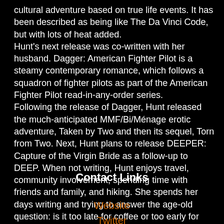cultural adventure based on true life events. It has been described as being like The Da Vinci Code, but with lots of heat added. Hunt's next release was co-written with her husband. Dagger: American Fighter Pilot is a steamy contemporary romance, which follows a squadron of fighter pilots as part of the American Fighter Pilot read-in-any-order series. Following the release of Dagger, Hunt released the much-anticipated MMF/Bi/Ménage erotic adventure, Taken by Two and then its sequel, Torn from Two. Next, Hunt plans to release DEEPER: Capture of the Virgin Bride as a follow-up to DEEP. When not writing, Hunt enjoys travel, community involvement, spending time with friends and family, and hiking. She spends her days writing and trying to answer the age-old question: is it too late for coffee or too early for wine?
Contact Links
Website
Twitter